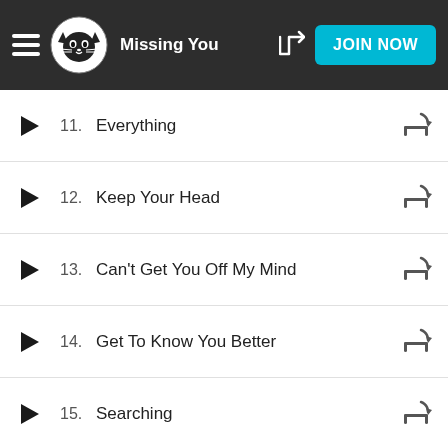Missing You — Napster | JOIN NOW
11. Everything
12. Keep Your Head
13. Can't Get You Off My Mind
14. Get To Know You Better
15. Searching